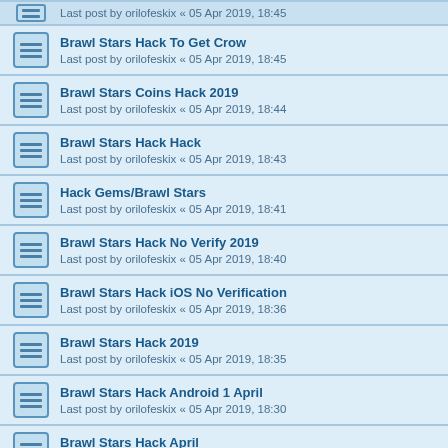Brawl Stars Hack To Get Crow — Last post by orilofeskix « 05 Apr 2019, 18:45
Brawl Stars Coins Hack 2019 — Last post by orilofeskix « 05 Apr 2019, 18:44
Brawl Stars Hack Hack — Last post by orilofeskix « 05 Apr 2019, 18:43
Hack Gems/Brawl Stars — Last post by orilofeskix « 05 Apr 2019, 18:41
Brawl Stars Hack No Verify 2019 — Last post by orilofeskix « 05 Apr 2019, 18:40
Brawl Stars Hack iOS No Verification — Last post by orilofeskix « 05 Apr 2019, 18:36
Brawl Stars Hack 2019 — Last post by orilofeskix « 05 Apr 2019, 18:35
Brawl Stars Hack Android 1 April — Last post by orilofeskix « 05 Apr 2019, 18:30
Brawl Stars Hack April — Last post by orilofeskix « 05 Apr 2019, 17:55
Brawl Stars Hack Skins — Last post by orilofeskix « 05 Apr 2019, 17:50
Brawl Stars Hack No Verification 2019